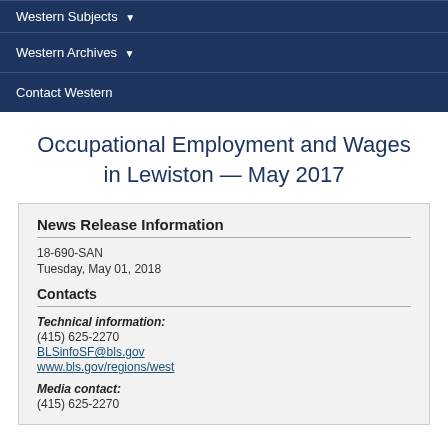Western Subjects
Western Archives
Contact Western
Occupational Employment and Wages in Lewiston — May 2017
News Release Information
18-690-SAN
Tuesday, May 01, 2018
Contacts
Technical information:
(415) 625-2270
BLSinfoSF@bls.gov
www.bls.gov/regions/west
Media contact:
(415) 625-2270